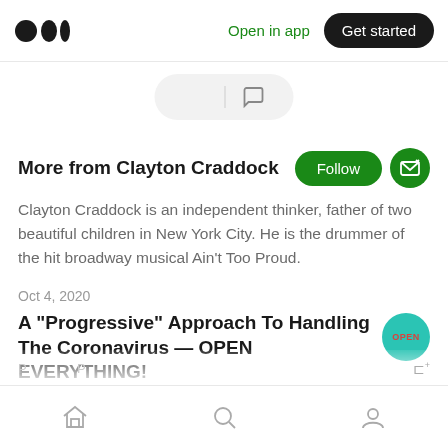Medium logo | Open in app | Get started
[Figure (screenshot): Clap and comment action bar with hand clap emoji and speech bubble icons]
More from Clayton Craddock
Clayton Craddock is an independent thinker, father of two beautiful children in New York City. He is the drummer of the hit broadway musical Ain't Too Proud.
Oct 4, 2020
A “Progressive” Approach To Handling The Coronavirus — OPEN EVERYTHING!
Home | Search | Profile navigation icons